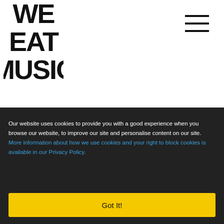[Figure (logo): We Eat Music logo — bold black vertical stacked text reading WE EAT MUSIC rotated]
[Figure (other): Hamburger menu icon — three horizontal black lines]
Our website uses cookies to provide you with a good experience when you browse our website, to improve our site and personalise content on our site. More information about how we use cookies and your right to block cookies is available in our Privacy Policy.
Got It!